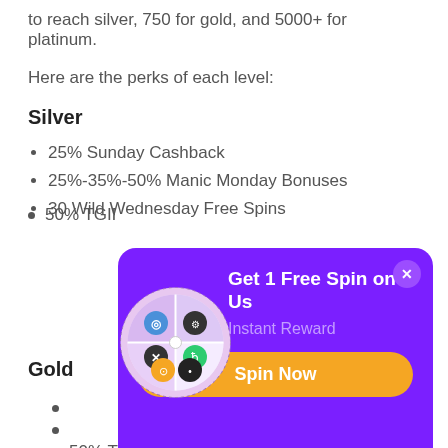to reach silver, 750 for gold, and 5000+ for platinum.
Here are the perks of each level:
Silver
25% Sunday Cashback
25%-35%-50% Manic Monday Bonuses
30 Wild Wednesday Free Spins
50% TGIF (partially hidden by popup)
Gold
(hidden by popup)
(hidden by popup)
(hidden by popup)
50% TGIF
[Figure (infographic): Popup overlay with purple background showing a spin wheel on the left and text 'Get 1 Free Spin on Us', 'Instant Reward', and an orange 'Spin Now' button]